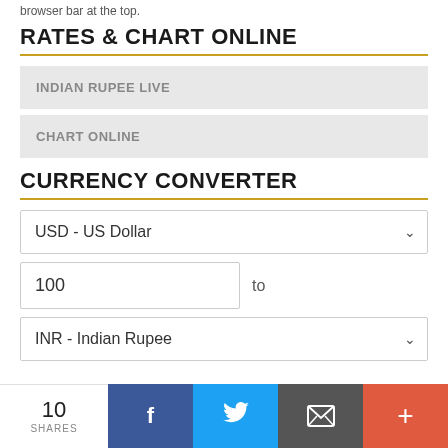browser bar at the top.
RATES & CHART ONLINE
INDIAN RUPEE LIVE
CHART ONLINE
CURRENCY CONVERTER
USD - US Dollar
100 to
INR - Indian Rupee
7,997.20
TODAY AND FORECAST
10 SHARES  [Facebook] [Twitter] [Email] [+]